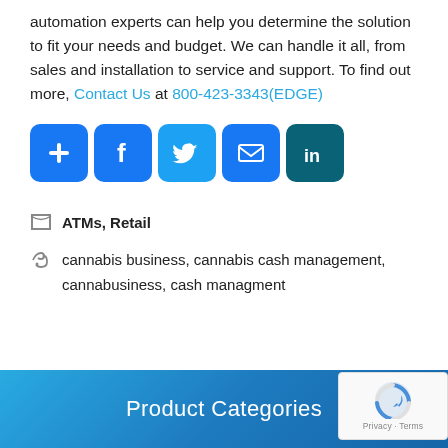automation experts can help you determine the solution to fit your needs and budget. We can handle it all, from sales and installation to service and support. To find out more, Contact Us at 800-423-3343(EDGE)
[Figure (infographic): Row of 5 social media/share icon buttons: plus/share (blue), Facebook (blue), Twitter (light blue), email/envelope (blue), LinkedIn (dark teal)]
ATMs, Retail
cannabis business, cannabis cash management, cannabusiness, cash managment
Product Categories